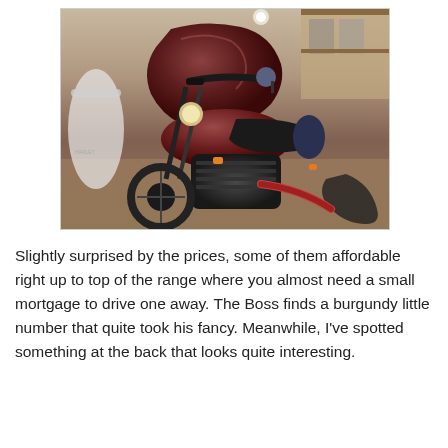[Figure (photo): A burgundy/dark red Harley-Davidson motorcycle displayed in a dealership showroom, surrounded by other motorcycles and merchandise. The motorcycle has a distinctive dark fairing, black engine, and orange turn signals.]
Slightly surprised by the prices, some of them affordable right up to top of the range where you almost need a small mortgage to drive one away. The Boss finds a burgundy little number that quite took his fancy. Meanwhile, I've spotted something at the back that looks quite interesting.